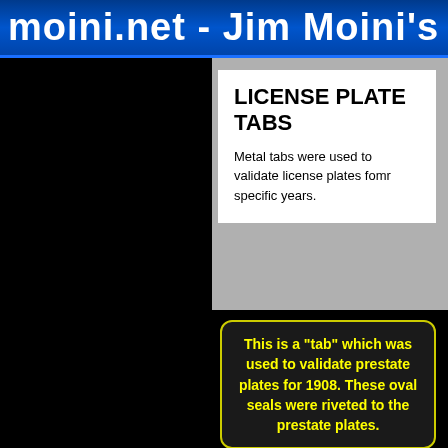moini.net - Jim Moini's Lice
LICENSE PLATE TABS
Metal tabs were used to validate license plates fomr specific years.
This is a "tab" which was used to validate prestate plates for 1908. These oval seals were riveted to the prestate plates.